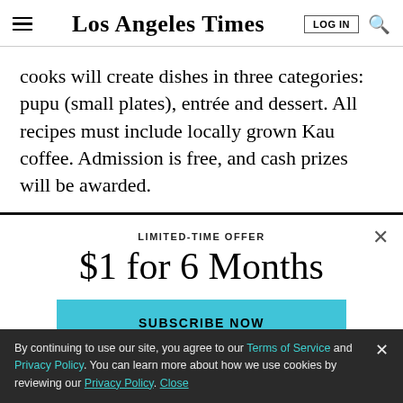Los Angeles Times
cooks will create dishes in three categories: pupu (small plates), entrée and dessert. All recipes must include locally grown Kau coffee. Admission is free, and cash prizes will be awarded.
LIMITED-TIME OFFER
$1 for 6 Months
SUBSCRIBE NOW
By continuing to use our site, you agree to our Terms of Service and Privacy Policy. You can learn more about how we use cookies by reviewing our Privacy Policy. Close